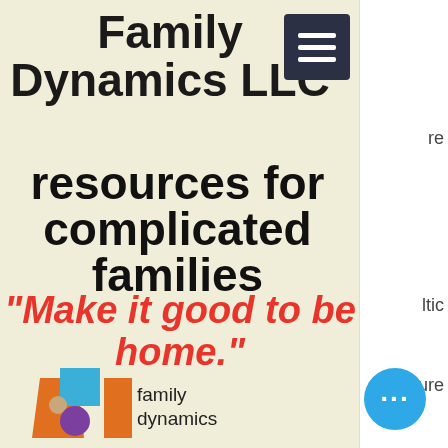Family Dynamics LLC
resources for complicated families
"Make it good to be home."
[Figure (logo): Family Dynamics LLC logo: colorful stylized figure with orange and blue shapes, purple circle, on beige background]
family dynamics